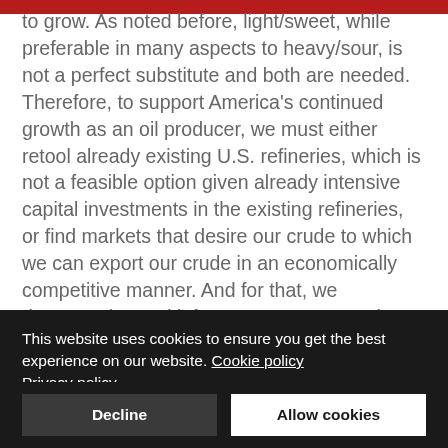to grow. As noted before, light/sweet, while preferable in many aspects to heavy/sour, is not a perfect substitute and both are needed. Therefore, to support America's continued growth as an oil producer, we must either retool already existing U.S. refineries, which is not a feasible option given already intensive capital investments in the existing refineries, or find markets that desire our crude to which we can export our crude in an economically competitive manner. And for that, we desperately need infrastructure.So, America – right now – our crude is too good!
This website uses cookies to ensure you get the best experience on our website. Cookie policy Privacy policy
Decline
Allow cookies